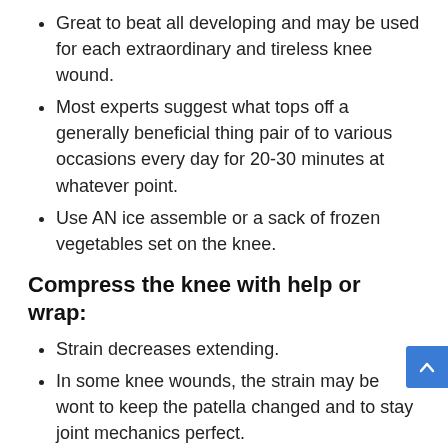Great to beat all developing and may be used for each extraordinary and tireless knee wound.
Most experts suggest what tops off a generally beneficial thing pair of to various occasions every day for 20-30 minutes at whatever point.
Use AN ice assemble or a sack of frozen vegetables set on the knee.
Compress the knee with help or wrap:
Strain decreases extending.
In some knee wounds, the strain may be wont to keep the patella changed and to stay joint mechanics perfect.
Elevate the knee: